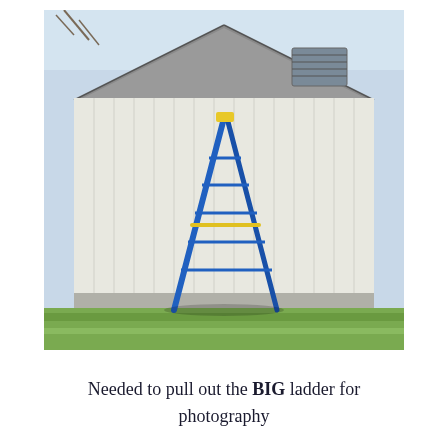[Figure (photo): A blue A-frame step ladder standing open on green grass in front of a white wood-paneled barn or shed with a gable roof and a louvered vent. The top of the ladder has a yellow cap. The scene is outdoors on a cloudy day.]
Needed to pull out the BIG ladder for photography